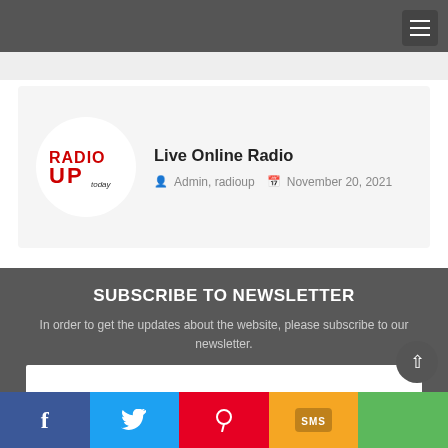[Figure (logo): Radio Up Today logo — red bold text RADIO UP with 'today' underneath, inside a white circle]
Live Online Radio
Admin, radioup   November 20, 2021
SUBSCRIBE TO NEWSLETTER
In order to get the updates about the website, please subscribe to our newsletter.
f  Twitter  Pinterest  SMS  Share